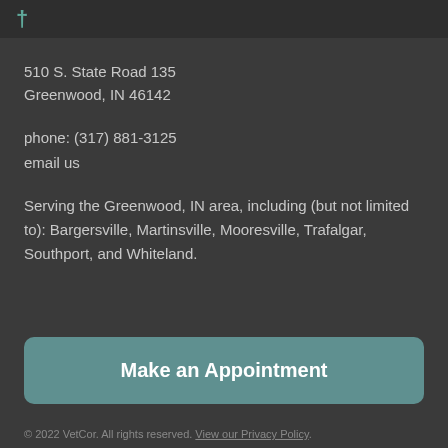†
510 S. State Road 135
Greenwood, IN 46142
phone: (317) 881-3125
email us
Serving the Greenwood, IN area, including (but not limited to): Bargersville, Martinsville, Mooresville, Trafalgar, Southport, and Whiteland.
Make an Appointment
© 2022 VetCor. All rights reserved. View our Privacy Policy.